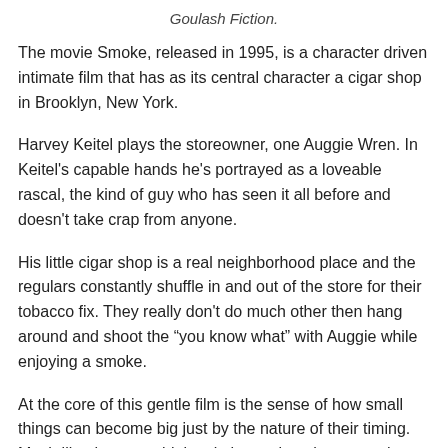Goulash Fiction.
The movie Smoke, released in 1995, is a character driven intimate film that has as its central character a cigar shop in Brooklyn, New York.
Harvey Keitel plays the storeowner, one Auggie Wren. In Keitel's capable hands he's portrayed as a loveable rascal, the kind of guy who has seen it all before and doesn't take crap from anyone.
His little cigar shop is a real neighborhood place and the regulars constantly shuffle in and out of the store for their tobacco fix. They really don't do much other then hang around and shoot the “you know what” with Auggie while enjoying a smoke.
At the core of this gentle film is the sense of how small things can become big just by the nature of their timing. Much like the proverbial rock thrown into the water, the ripples of these characters lives begin to interconnect with one another as the film progresses.